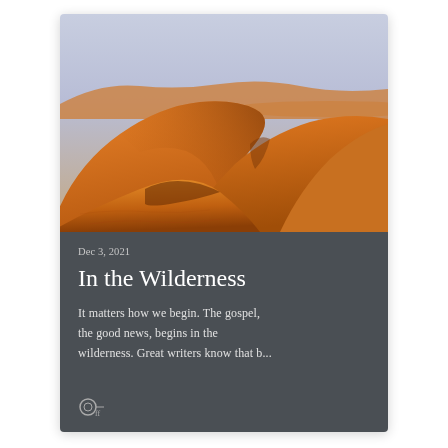[Figure (photo): Aerial view of orange-red sand dunes in a desert landscape under a pale blue-lavender sky. Dramatic dune ridges and shadows visible.]
Dec 3, 2021
In the Wilderness
It matters how we begin. The gospel, the good news, begins in the wilderness. Great writers know that b...